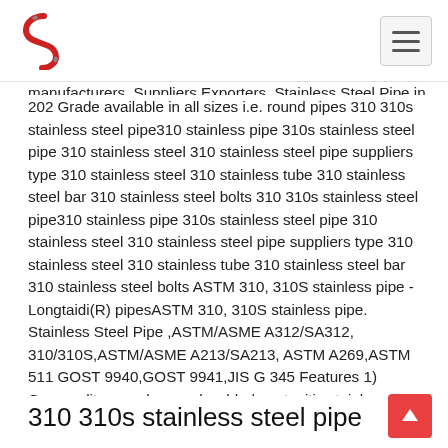Logo and navigation header
manufacturers, Suppliers Exporters. Stainless Steel Pipe in 202 Grade available in all sizes i.e. round pipes 310 310s stainless steel pipe310 stainless pipe 310s stainless steel pipe 310 stainless steel 310 stainless steel pipe suppliers type 310 stainless steel 310 stainless tube 310 stainless steel bar 310 stainless steel bolts 310 310s stainless steel pipe310 stainless pipe 310s stainless steel pipe 310 stainless steel 310 stainless steel pipe suppliers type 310 stainless steel 310 stainless tube 310 stainless steel bar 310 stainless steel bolts ASTM 310, 310S stainless pipe - Longtaidi(R) pipesASTM 310, 310S stainless pipe. Stainless Steel Pipe ,ASTM/ASME A312/SA312, 310/310S,ASTM/ASME A213/SA213, ASTM A269,ASTM 511 GOST 9940,GOST 9941,JIS G 345 Features 1) Commodity seamless and welded austenitic stainless steel pipes 2) Process method cold drawn / cold pilgered 3) Surface finish annealed / cold pilgered
310 310s stainless steel pipe